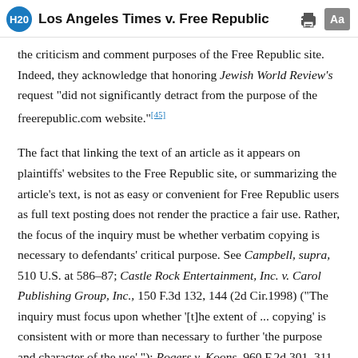Los Angeles Times v. Free Republic
the criticism and comment purposes of the Free Republic site. Indeed, they acknowledge that honoring Jewish World Review's request "did not significantly detract from the purpose of the freerepublic.com website."[45]
The fact that linking the text of an article as it appears on plaintiffs' websites to the Free Republic site, or summarizing the article's text, is not as easy or convenient for Free Republic users as full text posting does not render the practice a fair use. Rather, the focus of the inquiry must be whether verbatim copying is necessary to defendants' critical purpose. See Campbell, supra, 510 U.S. at 586–87; Castle Rock Entertainment, Inc. v. Carol Publishing Group, Inc., 150 F.3d 132, 144 (2d Cir.1998) ("The inquiry must focus upon whether '[t]he extent of ... copying' is consistent with or more than necessary to further 'the purpose and character of the use' "); Rogers v. Koons, 960 F.2d 301, 311 (2d Cir.1992) ("It is not fair use when more of the original is copied than necessary"); Walt Disney Prods. v. Air Pirates, 581